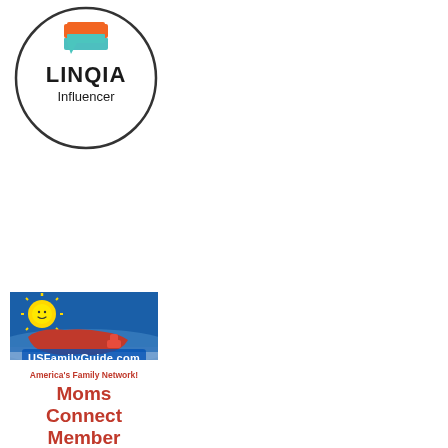[Figure (logo): LINQIA Influencer logo: a circle outline containing an orange and teal stacked document/chat icon above the text 'LINQIA' in bold black letters and 'Influencer' in regular black text below.]
[Figure (logo): USFamilyGuide.com Moms Connect Member badge: blue banner background with smiling sun and red US map illustration, text 'USFamilyGuide.com', 'America's Family Network!', and bold red text 'Moms Connect Member' on white background below.]